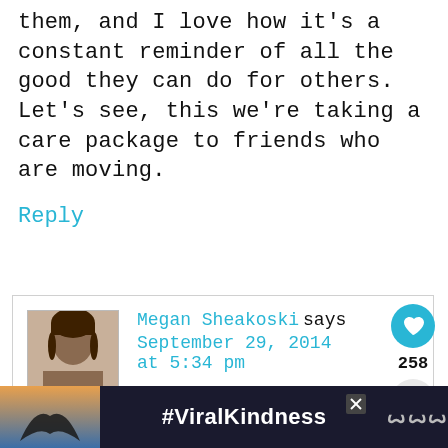them, and I love how it's a constant reminder of all the good they can do for others. Let's see, this we're taking a care package to friends who are moving.
Reply
Megan Sheakoski says September 29, 2014 at 5:34 pm
I love that!!!! We may have steal the tally idea from you!
WHAT'S NEXT → A Secret Kindness...
#ViralKindness